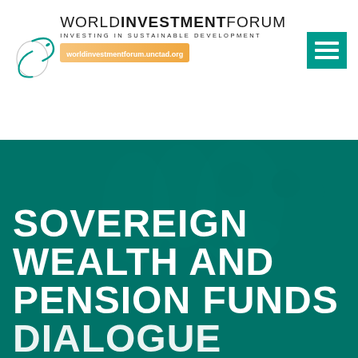[Figure (logo): World Investment Forum logo with globe/orbit graphic in teal, text reading WORLD INVESTMENT FORUM, subtitle INVESTING IN SUSTAINABLE DEVELOPMENT, URL bar worldinvestmentforum.unctad.org]
[Figure (other): Green hamburger/menu icon button in teal square, top right corner]
[Figure (photo): Teal-tinted crowd photo background with people in suits visible from behind, overlaid with large white bold text: SOVEREIGN WEALTH AND PENSION FUNDS DIALOGUE (partially visible)]
SOVEREIGN WEALTH AND PENSION FUNDS DIALOGUE